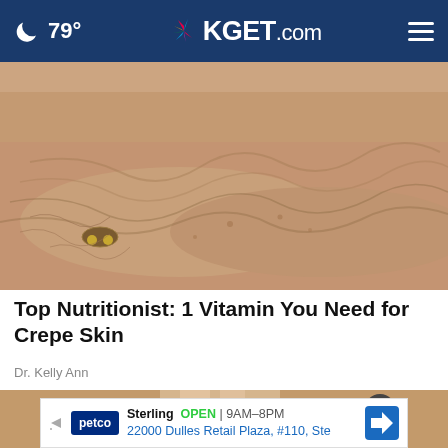79° KGET.com
[Figure (photo): Close-up photo of elderly person's arms resting on a surface, showing wrinkled/crepe skin texture, wearing a gold bracelet]
Top Nutritionist: 1 Vitamin You Need for Crepe Skin
Dr. Kelly Ann
[Figure (screenshot): Partial view of a second article/video thumbnail showing hands, with a Petco advertisement overlay showing Sterling location open 9AM-8PM at 22000 Dulles Retail Plaza, #110, Ste, with a close (X) button]